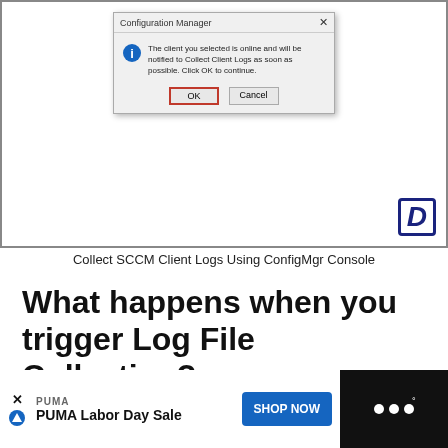[Figure (screenshot): Configuration Manager dialog box showing message: 'The client you selected is online and will be notified to Collect Client Logs as soon as possible. Click OK to continue.' with OK and Cancel buttons. OK button is highlighted with a red border.]
Collect SCCM Client Logs Using ConfigMgr Console
What happens when you trigger Log File Collection?
When you trigger the client log file collection, the following activities occur in the background: